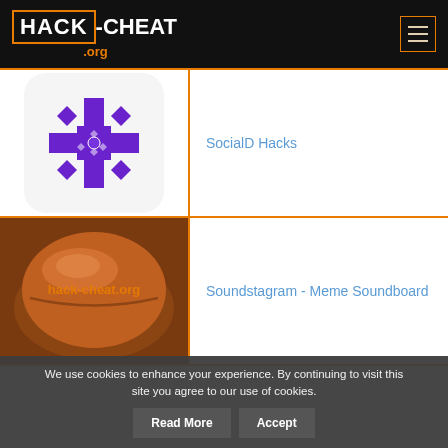HACK-CHEAT .org
[Figure (logo): Purple snowflake/cross geometric symbol app icon with white rounded-rectangle card background]
SocialD Hacks
[Figure (photo): Brown shiny round button/arcade button with 'hack-cheat.org' orange text watermark over it]
Soundstagram - Meme Soundboard
We use cookies to enhance your experience. By continuing to visit this site you agree to our use of cookies. Read More Accept